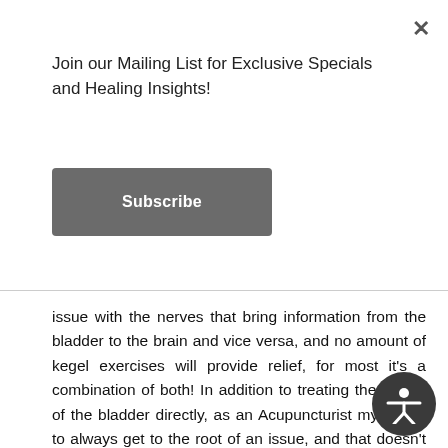Join our Mailing List for Exclusive Specials and Healing Insights!
Subscribe
issue with the nerves that bring information from the bladder to the brain and vice versa, and no amount of kegel exercises will provide relief, for most it's a combination of both! In addition to treating the issues of the bladder directly, as an Acupuncturist my aim is to always get to the root of an issue, and that doesn't mean just what's going on in the body as a cause of an issue, it also means the bigger picture in the body - mind - spirit connection.  Acupuncture treatments for OAB will consist of a direct treatment to address the symptoms of overactive bladder and leakage, but also addressing the patient as a unique individual and their constitution so that they can embody more strength and health throughout all aspects of their life, not just